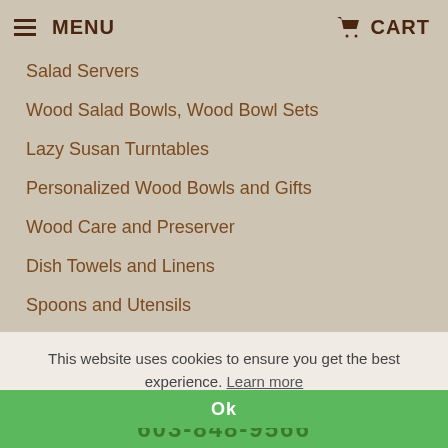MENU   CART
Salad Servers
Wood Salad Bowls, Wood Bowl Sets
Lazy Susan Turntables
Personalized Wood Bowls and Gifts
Wood Care and Preserver
Dish Towels and Linens
Spoons and Utensils
Olive Wood
Cook Books
Corporate Gifts
Walnut Wood Gifts
This website uses cookies to ensure you get the best experience. Learn more
Ok
603-848-9566